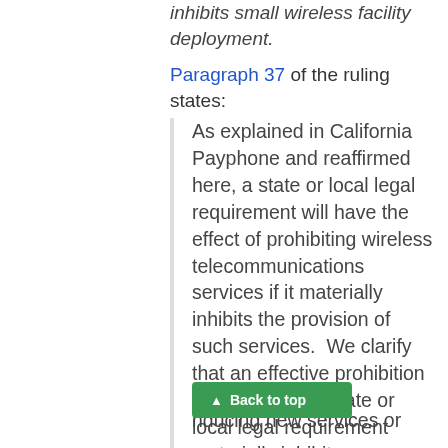inhibits small wireless facility deployment.
Paragraph 37 of the ruling states:
As explained in California Payphone and reaffirmed here, a state or local legal requirement will have the effect of prohibiting wireless telecommunications services if it materially inhibits the provision of such services.  We clarify that an effective prohibition occurs where a state or local legal requirement materially inhibits a provider’s ability to engage in any of a variety of activities related to its provision of a covered service. This test is met not only when filling a coverage gap but also when densifying a wireless network, introducing new services or